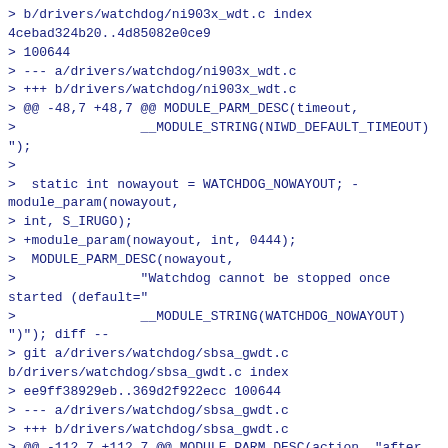> b/drivers/watchdog/ni903x_wdt.c index
4cebad324b20..4d85082e0ce9
> 100644
> --- a/drivers/watchdog/ni903x_wdt.c
> +++ b/drivers/watchdog/ni903x_wdt.c
> @@ -48,7 +48,7 @@ MODULE_PARM_DESC(timeout,
>                __MODULE_STRING(NIWD_DEFAULT_TIMEOUT)
");
>
>  static int nowayout = WATCHDOG_NOWAYOUT; -module_param(nowayout,
> int, S_IRUGO);
> +module_param(nowayout, int, 0444);
>  MODULE_PARM_DESC(nowayout,
>                "Watchdog cannot be stopped once started (default="
>                __MODULE_STRING(WATCHDOG_NOWAYOUT)
");
diff --
> git a/drivers/watchdog/sbsa_gwdt.c
b/drivers/watchdog/sbsa_gwdt.c index
> ee9ff38929eb..369d2f922ecc 100644
> --- a/drivers/watchdog/sbsa_gwdt.c
> +++ b/drivers/watchdog/sbsa_gwdt.c
> @@ -112,7 +112,7 @@ MODULE_PARM_DESC(action, "after watchdog gets
> WS0 interrupt, do: "
>          "0 = skip(*)  1 = panic");
>
>  static bool nowayout = WATCHDOG_NOWAYOUT; -
> module_param(nowayout, bool, S_IRUGO);